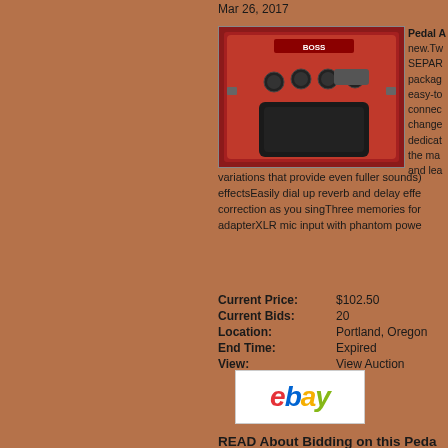Mar 26, 2017
[Figure (photo): Red BOSS vocal harmonizer / effects guitar pedal, top-down view showing knobs and controls]
Pedal A... new.Two SEPAR... package easy-to connect change dedicat the ma and lea variations that provide even fuller sounds) effectsEasily dial up reverb and delay effe correction as you singThree memories for adapterXLR mic input with phantom powe
| Field | Value |
| --- | --- |
| Current Price: | $102.50 |
| Current Bids: | 20 |
| Location: | Portland, Oregon |
| End Time: | Expired |
| View: | View Auction |
[Figure (logo): eBay logo in red, blue, yellow, and green on white background]
READ About Bidding on this Peda